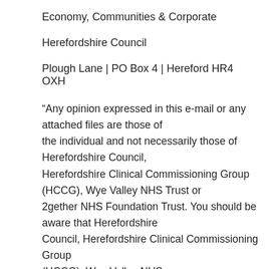Economy, Communities & Corporate
Herefordshire Council
Plough Lane | PO Box 4 | Hereford HR4 OXH
“Any opinion expressed in this e-mail or any attached files are those of the individual and not necessarily those of Herefordshire Council, Herefordshire Clinical Commissioning Group (HCCG), Wye Valley NHS Trust or 2gether NHS Foundation Trust. You should be aware that Herefordshire Council, Herefordshire Clinical Commissioning Group (HCCG), Wye Valley NHS